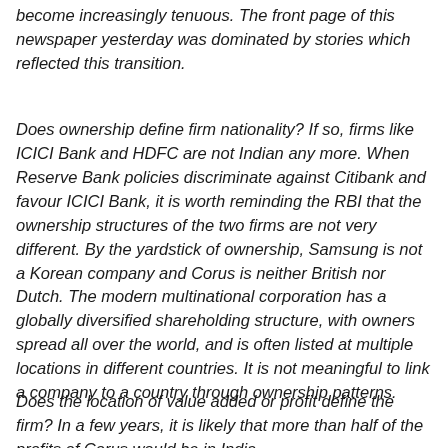become increasingly tenuous. The front page of this newspaper yesterday was dominated by stories which reflected this transition.
Does ownership define firm nationality? If so, firms like ICICI Bank and HDFC are not Indian any more. When Reserve Bank policies discriminate against Citibank and favour ICICI Bank, it is worth reminding the RBI that the ownership structures of the two firms are not very different. By the yardstick of ownership, Samsung is not a Korean company and Corus is neither British nor Dutch. The modern multinational corporation has a globally diversified shareholding structure, with owners spread all over the world, and is often listed at multiple locations in different countries. It is not meaningful to link a company to a country through ownership patterns.
Does the location of value added or profit define the firm? In a few years, it is likely that more than half of the profits of Corus would be in India...